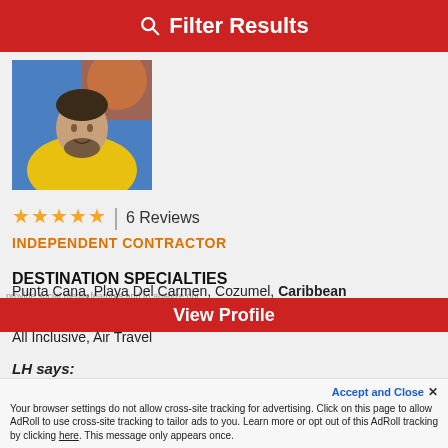Filter Results
[Figure (photo): Profile photo of a man in a yellow polo shirt]
★★★★★ | 6 Reviews
INDEPENDENT CONTRACTOR
DESTINATION SPECIALTIES
Punta Cana, Playa Del Carmen, Cozumel, Caribbean
INTEREST SPECIALTIES
All Inclusive, Air Travel
LH says:
"He did an amazing job finding us a good deal :) ..." Read More
View Profile
Accept and Close ✕ Your browser settings do not allow cross-site tracking for advertising. Click on this page to allow AdRoll to use cross-site tracking to tailor ads to you. Learn more or opt out of this AdRoll tracking by clicking here. This message only appears once.